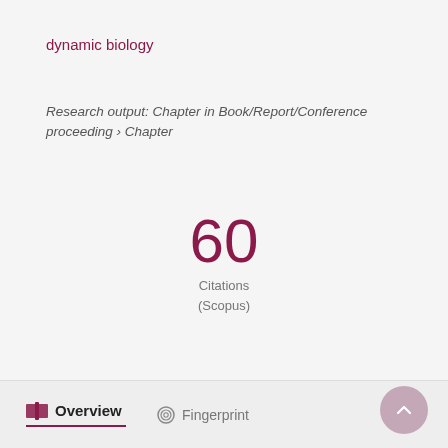dynamic biology
Research output: Chapter in Book/Report/Conference proceeding › Chapter
60
Citations
(Scopus)
Overview   Fingerprint